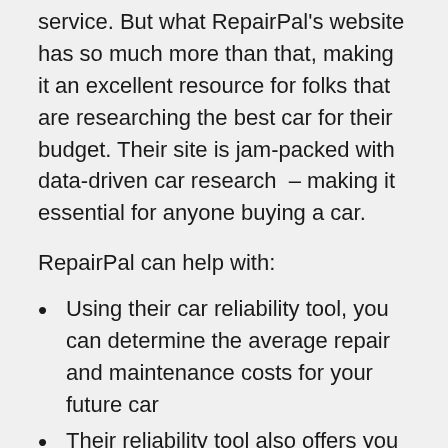service. But what RepairPal's website has so much more than that, making it an excellent resource for folks that are researching the best car for their budget. Their site is jam-packed with data-driven car research  – making it essential for anyone buying a car.
RepairPal can help with:
Using their car reliability tool, you can determine the average repair and maintenance costs for your future car
Their reliability tool also offers you comparable options with lower annual costs
RepairPal's site has data on the frequency